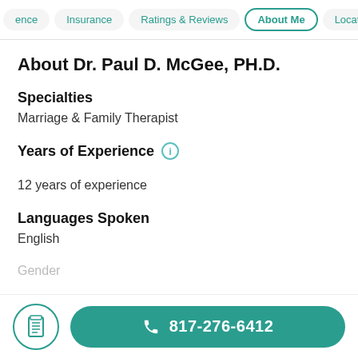ence  Insurance  Ratings & Reviews  About Me  Locations
About Dr. Paul D. McGee, PH.D.
Specialties
Marriage & Family Therapist
Years of Experience
12 years of experience
Languages Spoken
English
Gender
817-276-6412